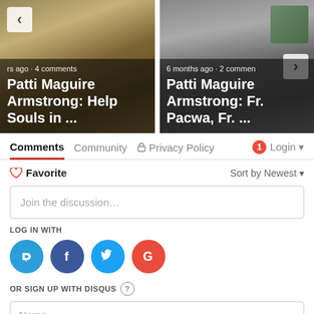[Figure (screenshot): Website carousel showing two article cards. Left card: religious/baroque painting background with navigation arrow on left, text overlay reading 'rs ago · 4 comments' and title 'Patti Maguire Armstrong: Help Souls in ...'. Right card: photo of man with glasses, small portrait thumbnail top-right, navigation arrow on right, text overlay reading '6 months ago · 2 comments' and title 'Patti Maguire Armstrong: Fr. Pacwa, Fr. ...']
Comments
Community
Privacy Policy
1
Login
Favorite
Sort by Newest
Join the discussion…
LOG IN WITH
OR SIGN UP WITH DISQUS
Name